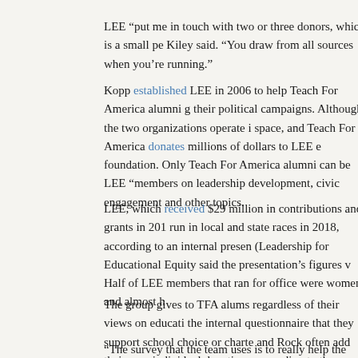LEE “put me in touch with two or three donors, which is a small pe Kiley said. “You draw from all sources when you’re running.”
Kopp established LEE in 2006 to help Teach For America alumni g their political campaigns. Although the two organizations operate i space, and Teach For America donates millions of dollars to LEE e foundation. Only Teach For America alumni can be LEE “members on leadership development, civic engagement and other topics.
LEE, which received $29 million in contributions and grants in 201 run in local and state races in 2018, according to an internal presen (Leadership for Educational Equity said the presentation’s figures v Half of LEE members that ran for office were women, and almost h
The group gives to TFA alums regardless of their views on educati the internal questionnaire that they support school choice or charte and Rock often add their own individual donations, according to th
“The survey that the team uses is to really help the candidates to an values, said Jason Llorenz, vice president of communication for LE